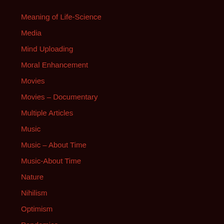Meaning of Life-Science
Media
Mind Uploading
Moral Enhancement
Movies
Movies – Documentary
Multiple Articles
Music
Music – About Time
Music-About Time
Nature
Nihilism
Optimism
Pandemics